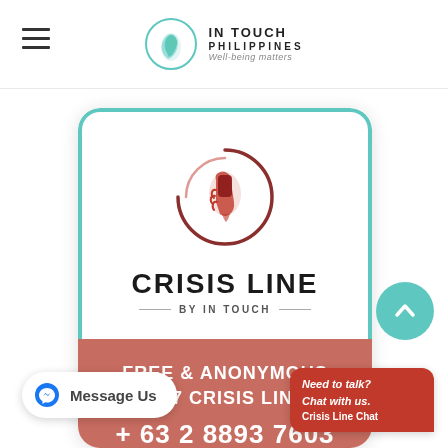IN TOUCH PHILIPPINES — Well-being matters
[Figure (logo): Crisis Line by In Touch logo — circular emblem with a hand holding a phone, text CRISIS LINE BY IN TOUCH]
CRISIS LINE
BY IN TOUCH
FREE & ANONYMOUS 24/7 CRISIS LINE
+ 63 2 8893 7603
Message Us
Need to talk? Chat with us. Crisis Line Chat